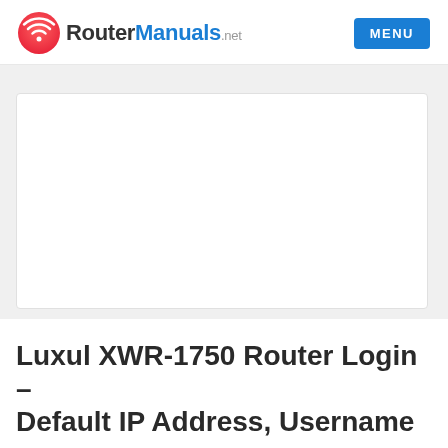RouterManuals.net  MENU
[Figure (other): Advertisement placeholder box, white background with border]
Luxul XWR-1750 Router Login – Default IP Address, Username